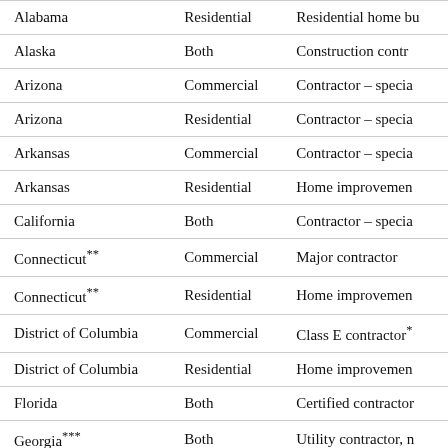| State | Type | License |
| --- | --- | --- |
| Alabama | Residential | Residential home bu… |
| Alaska | Both | Construction contr… |
| Arizona | Commercial | Contractor – specia… |
| Arizona | Residential | Contractor – specia… |
| Arkansas | Commercial | Contractor – specia… |
| Arkansas | Residential | Home improvemen… |
| California | Both | Contractor – specia… |
| Connecticut** | Commercial | Major contractor |
| Connecticut** | Residential | Home improvemen… |
| District of Columbia | Commercial | Class E contractor*… |
| District of Columbia | Residential | Home improvemen… |
| Florida | Both | Certified contractor… |
| Georgia*** | Both | Utility contractor, n… |